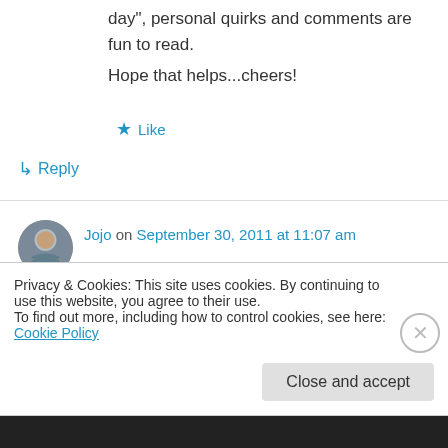day", personal quirks and comments are fun to read.
Hope that helps...cheers!
★ Like
↳ Reply
Jojo on September 30, 2011 at 11:07 am
What a great giveaway! A friendly writing style & lots of photos will keep me going back to blogs again & again.
Privacy & Cookies: This site uses cookies. By continuing to use this website, you agree to their use.
To find out more, including how to control cookies, see here: Cookie Policy
Close and accept